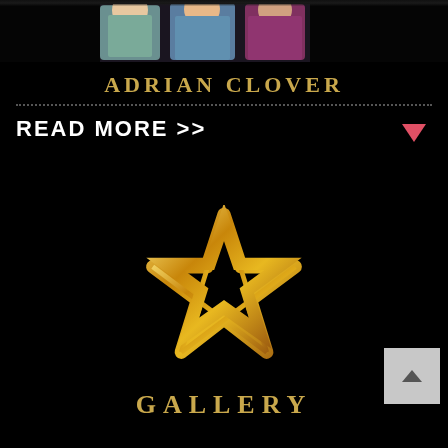[Figure (photo): Photo strip at top showing group of people in colorful formal attire on dark background]
ADRIAN CLOVER
READ MORE >>
[Figure (logo): Gold star outline logo icon]
GALLERY